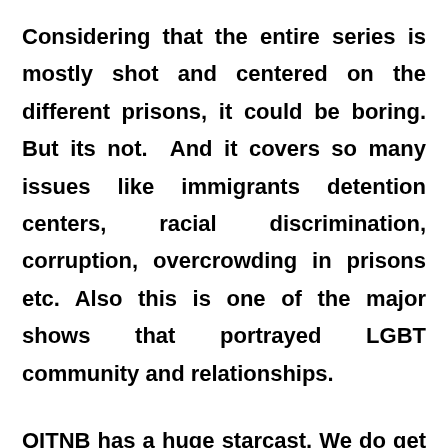Considering that the entire series is mostly shot and centered on the different prisons, it could be boring. But its not. And it covers so many issues like immigrants detention centers, racial discrimination, corruption, overcrowding in prisons etc. Also this is one of the major shows that portrayed LGBT community and relationships.
OITNB has a huge starcast. We do get new inmates almost every season. Each character arc is beautifully defined and the actors have done full justice to their roles. Special mention for Uzo Aduba